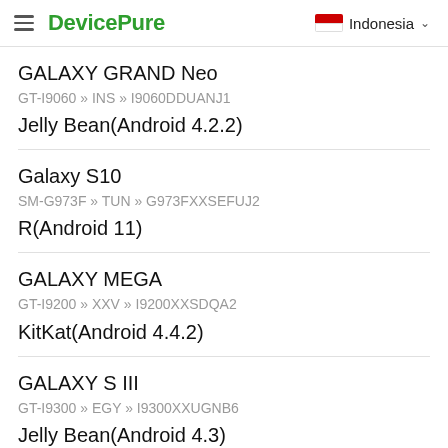DevicePure   Indonesia
GALAXY GRAND Neo
GT-I9060 » INS » I9060DDUANJ1
Jelly Bean(Android 4.2.2)
Galaxy S10
SM-G973F » TUN » G973FXXSEFUJ2
R(Android 11)
GALAXY MEGA
GT-I9200 » XXV » I9200XXSDQA2
KitKat(Android 4.4.2)
GALAXY S III
GT-I9300 » EGY » I9300XXUGNB6
Jelly Bean(Android 4.3)
GALAXY Tab 3 lite